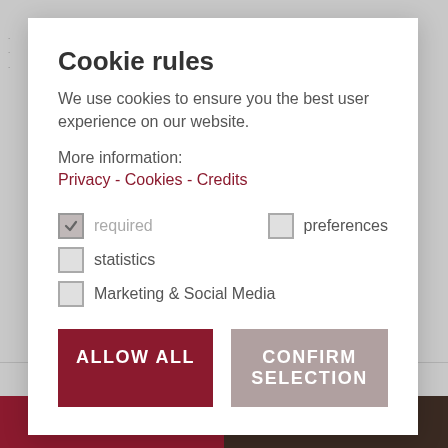Cookie rules
We use cookies to ensure you the best user experience on our website.
More information:
Privacy - Cookies - Credits
required (checked)
preferences
statistics
Marketing & Social Media
ALLOW ALL
CONFIRM SELECTION
booking south tyrol
PRIVACY   SITEMAP   LEGAL NOTICE   COOKIES   UID IT01100340213
REQUEST
BOOK ONLINE